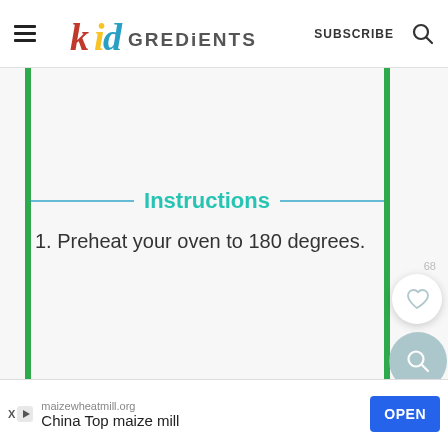KidGREDiENTS — SUBSCRIBE
Instructions
1. Preheat your oven to 180 degrees.
[Figure (other): Floating heart/save button and search button on right side]
68
maizewheatmill.org
China Top maize mill
OPEN